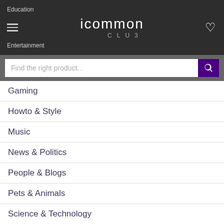Education | icommon CLUB | Entertainment
Find the right product...
Gaming
Howto & Style
Music
News & Politics
People & Blogs
Pets & Animals
Science & Technology
Smart Gadgets
Spo... English